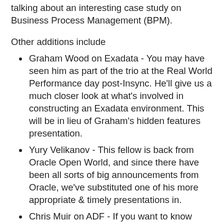talking about an interesting case study on Business Process Management (BPM).
Other additions include
Graham Wood on Exadata - You may have seen him as part of the trio at the Real World Performance day post-Insync. He'll give us a much closer look at what's involved in constructing an Exadata environment. This will be in lieu of Graham's hidden features presentation.
Yury Velikanov - This fellow is back from Oracle Open World, and since there have been all sorts of big announcements from Oracle, we've substituted one of his more appropriate & timely presentations in.
Chris Muir on ADF - If you want to know anything about ADF, Chris is the man to talk to. He is an ACE director for the product, and we now have a second presentation to include from him. He's first presentation on day one will introduce ADF